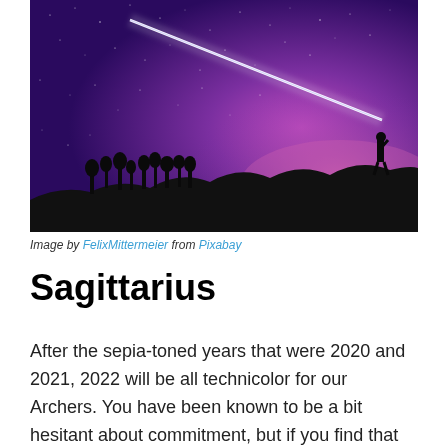[Figure (photo): Night sky photo showing a person silhouetted on a hilltop shining a bright flashlight/laser beam into a purple and violet starry sky. Taken by FelixMittermeier from Pixabay.]
Image by FelixMittermeier from Pixabay
Sagittarius
After the sepia-toned years that were 2020 and 2021, 2022 will be all technicolor for our Archers. You have been known to be a bit hesitant about commitment, but if you find that special someone who loves adventure as much as you do, it